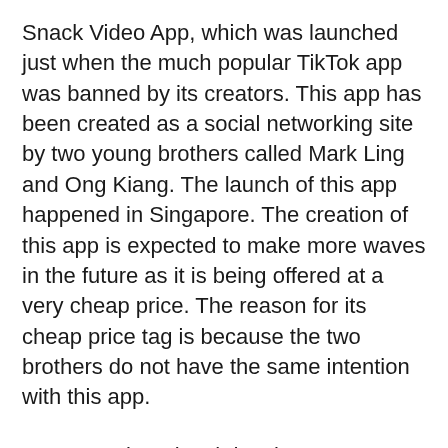Snack Video App, which was launched just when the much popular TikTok app was banned by its creators. This app has been created as a social networking site by two young brothers called Mark Ling and Ong Kiang. The launch of this app happened in Singapore. The creation of this app is expected to make more waves in the future as it is being offered at a very cheap price. The reason for its cheap price tag is because the two brothers do not have the same intention with this app.
Moreover, later local developers try to make its clones version like Apk Free tips and more. Moreover, I clear everything about it in the article. However, if you still have any queries, ask them in the comments section.